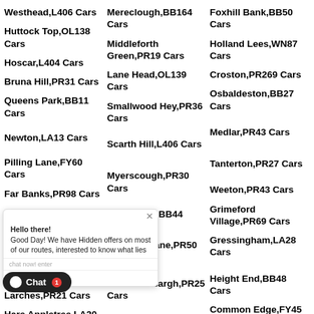Westhead,L406 Cars
Mereclough,BB164 Cars
Foxhill Bank,BB50 Cars
Huttock Top,OL138 Cars
Middleforth Green,PR19 Cars
Holland Lees,WN87 Cars
Hoscar,L404 Cars
Lane Head,OL139 Cars
Croston,PR269 Cars
Bruna Hill,PR31 Cars
Smallwood Hey,PR36 Cars
Osbaldeston,BB27 Cars
Queens Park,BB11 Cars
Scarth Hill,L406 Cars
Medlar,PR43 Cars
Newton,LA13 Cars
Myerscough,PR30 Cars
Tanterton,PR27 Cars
Pilling Lane,FY60 Cars
Helmshore,BB44 Cars
Weeton,PR43 Cars
Far Banks,PR98 Cars
Gregson Lane,PR50 Cars
Grimeford Village,PR69 Cars
Green ... Cars
Grimsargh,PR25 Cars
Gressingham,LA28 Cars
Grindl...
Harle Syke,BB102 Cars
Height End,BB48 Cars
Brook,...
Lower Heysham,LA32 Cars
Common Edge,FY45 Cars
Larches,PR21 Cars
Crossgill,LA29 Cars
Millgate,OL128 Cars
Hare Appletree,LA20 Cars
Hampson Green,LA20
Croston e,PR31 Cars